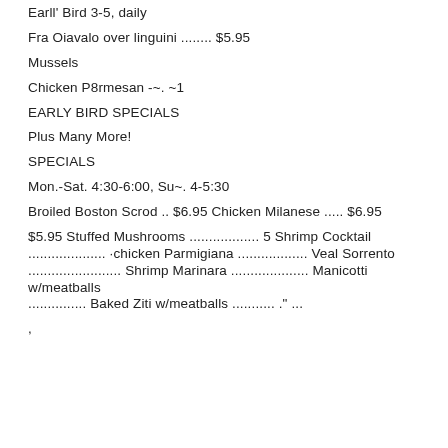Earll' Bird 3-5, daily
Fra Oiavalo over linguini ........ $5.95
Mussels
Chicken P8rmesan -~. ~1
EARLY BIRD SPECIALS
Plus Many More!
SPECIALS
Mon.-Sat. 4:30-6:00, Su~. 4-5:30
Broiled Boston Scrod .. $6.95 Chicken Milanese ..... $6.95
$5.95 Stuffed Mushrooms .................. 5 Shrimp Cocktail .................... ·chicken Parmigiana .................. Veal Sorrento ........................ Shrimp Marinara .................... Manicotti w/meatballs ............... Baked Ziti w/meatballs ........... ." ...
,